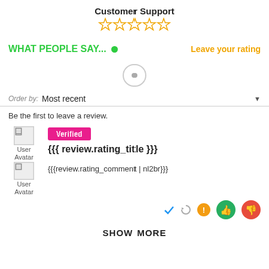Customer Support
[Figure (other): Five empty star rating icons in orange/gold outline]
WHAT PEOPLE SAY...
Leave your rating
[Figure (other): Loading spinner circle]
Order by: Most recent
Be the first to leave a review.
[Figure (other): User avatar image placeholder (broken image icon) with label 'User Avatar' and Verified badge]
{{{ review.rating_title }}}
[Figure (other): Second user avatar image placeholder (broken image icon) with label 'User Avatar']
{{{review.rating_comment | nl2br}}}
[Figure (other): Action icons: checkmark (blue), refresh (gray), warning (orange), thumbs up (green circle), thumbs down (red circle)]
SHOW MORE